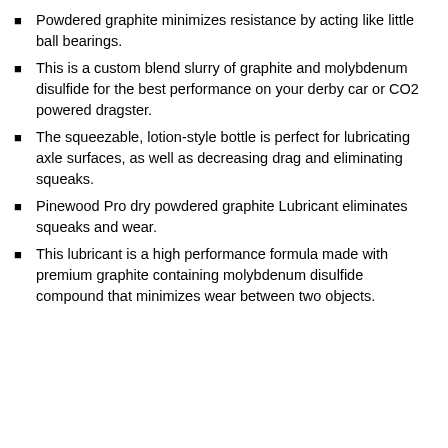Powdered graphite minimizes resistance by acting like little ball bearings.
This is a custom blend slurry of graphite and molybdenum disulfide for the best performance on your derby car or CO2 powered dragster.
The squeezable, lotion-style bottle is perfect for lubricating axle surfaces, as well as decreasing drag and eliminating squeaks.
Pinewood Pro dry powdered graphite Lubricant eliminates squeaks and wear.
This lubricant is a high performance formula made with premium graphite containing molybdenum disulfide compound that minimizes wear between two objects.